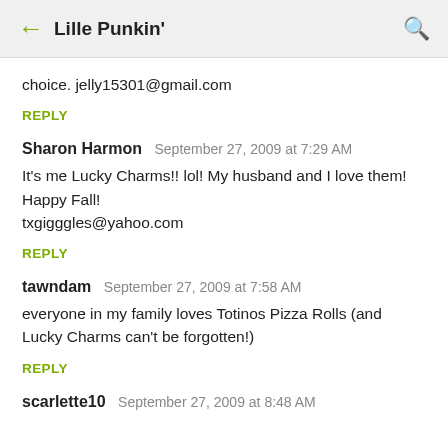← Lille Punkin' 🔍
choice. jelly15301@gmail.com
REPLY
Sharon Harmon  September 27, 2009 at 7:29 AM
It's me Lucky Charms!! lol! My husband and I love them!
Happy Fall!
txgigggles@yahoo.com
REPLY
tawndam  September 27, 2009 at 7:58 AM
everyone in my family loves Totinos Pizza Rolls (and Lucky Charms can't be forgotten!)
REPLY
scarlette10  September 27, 2009 at 8:48 AM